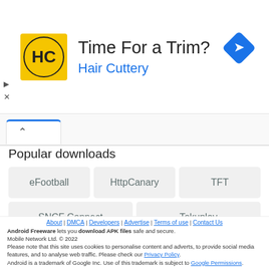[Figure (illustration): Advertisement banner for Hair Cuttery with logo, title 'Time For a Trim?', and navigation icon]
Popular downloads
eFootball
HttpCanary
TFT
SNCF Connect
Tokuplay
Bucket Crusher
PlanetRomeo
About | DMCA | Developers | Advertise | Terms of use | Contact Us
Android Freeware lets you download APK files safe and secure.
Mobile Network Ltd. © 2022
Please note that this site uses cookies to personalise content and adverts, to provide social media features, and to analyse web traffic. Please check our Privacy Policy.
Android is a trademark of Google Inc. Use of this trademark is subject to Google Permissions.